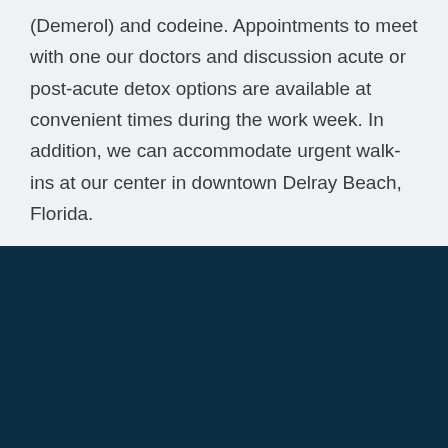(Demerol) and codeine. Appointments to meet with one our doctors and discussion acute or post-acute detox options are available at convenient times during the work week. In addition, we can accommodate urgent walk-ins at our center in downtown Delray Beach, Florida.
[Figure (other): Dark navy blue rectangular section at the bottom of the page, appearing to be a footer or image area with no visible content]